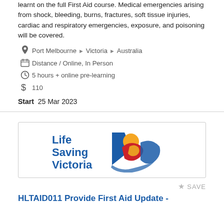learnt on the full First Aid course. Medical emergencies arising from shock, bleeding, burns, fractures, soft tissue injuries, cardiac and respiratory emergencies, exposure, and poisoning will be covered.
Port Melbourne ▶ Victoria ▶ Australia
Distance / Online, In Person
5 hours + online pre-learning
110
Start  25 Mar 2023
[Figure (logo): Life Saving Victoria logo — text 'Life Saving Victoria' with colorful shield/figure graphic in blue, red, orange, and yellow]
SAVE
HLTAID011 Provide First Aid Update -